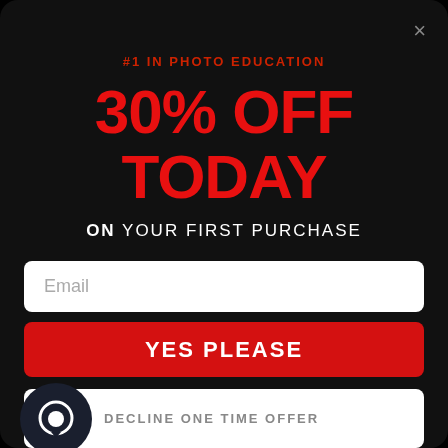×
#1 IN PHOTO EDUCATION
30% OFF TODAY
ON YOUR FIRST PURCHASE
Email
YES PLEASE
DECLINE ONE TIME OFFER